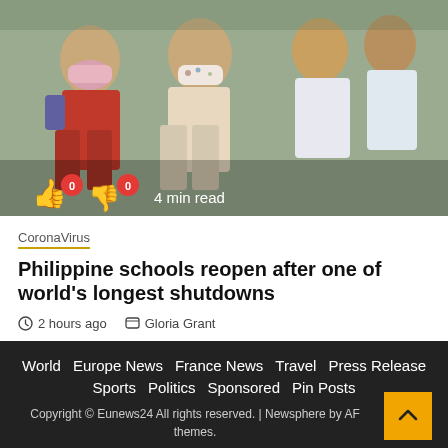[Figure (photo): Children wearing face masks, presumably Filipino school children, standing in a line at school.]
0  0  4 min read
CoronaVirus
Philippine schools reopen after one of world's longest shutdowns
2 hours ago  Gloria Grant
World  Europe News  France News  Travel  Press Release  Sports  Politics  Sponsored  Pin Posts  Copyright © Eunews24 All rights reserved. | Newsphere by AF themes.